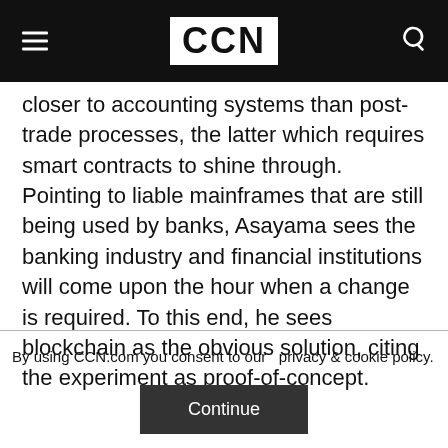CCN
closer to accounting systems than post-trade processes, the latter which requires smart contracts to shine through. Pointing to liable mainframes that are still being used by banks, Asayama sees the banking industry and financial institutions will come upon the hour when a change is required. To this end, he sees blockchain as the obvious solution, citing the experiment as proof-of-concept.
By using CCN.com you consent to our privacy & cookie policy.
Continue